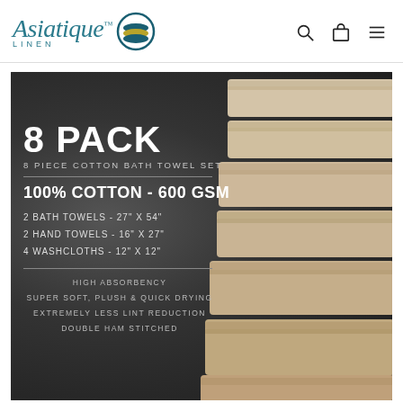[Figure (logo): Asiatique Linen brand logo with teal italic script, LINEN text below, and a circular icon with teal/gold/dark stripes]
[Figure (photo): 8 PACK - 8 Piece Cotton Bath Towel Set product image on dark/charcoal background with stacked beige/linen towels on the right side. Text overlay reads: 8 PACK, 8 PIECE COTTON BATH TOWEL SET, 100% COTTON - 600 GSM, 2 BATH TOWELS - 27 X 54, 2 HAND TOWELS - 16 X 27, 4 WASHCLOTHS - 12 X 12, HIGH ABSORBENCY, SUPER SOFT PLUSH & QUICK DRYING, EXTREMELY LESS LINT REDUCTION, DOUBLE HAM STITCHED]